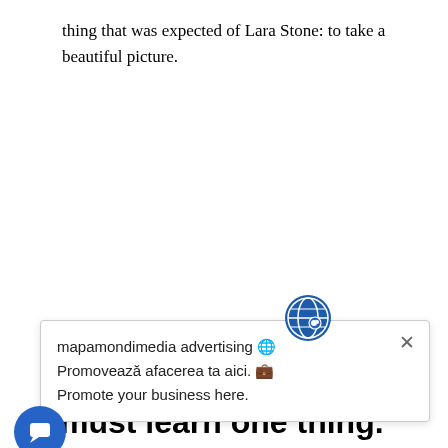thing that was expected of Lara Stone: to take a beautiful picture.
[Figure (screenshot): A popup/tooltip box with a globe icon at top, an X close button, and text reading: 'mapamondimedia advertising Promovează afacerea ta aici. Promote your business here.']
ests and falls in a series of waves.
must learn one thing. The world was made to be free in. Give up all the